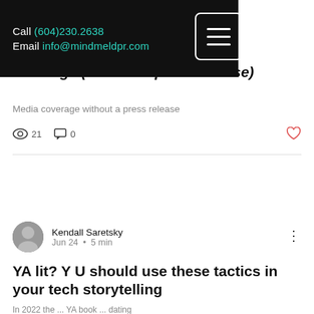Call (604)230.2638  Email info@mindmeldpr.com
coverage (without a press release)
Media coverage without a press release
21  0
Kendall Saretsky
Jun 24  •  5 min
YA lit? Y U should use these tactics in your tech storytelling
In 2022 the ... YA book ... dating